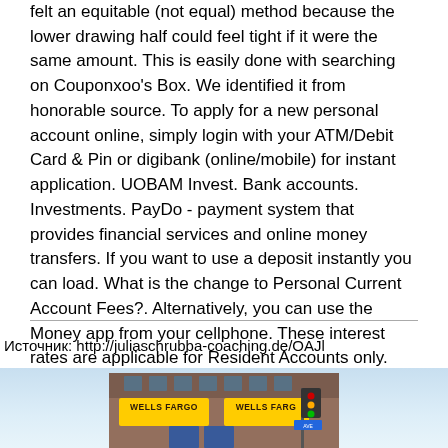felt an equitable (not equal) method because the lower drawing half could feel tight if it were the same amount. This is easily done with searching on Couponxoo's Box. We identified it from honorable source. To apply for a new personal account online, simply login with your ATM/Debit Card & Pin or digibank (online/mobile) for instant application. UOBAM Invest. Bank accounts. Investments. PayDo - payment system that provides financial services and online money transfers. If you want to use a deposit instantly you can load. What is the change to Personal Current Account Fees?. Alternatively, you can use the Money app from your cellphone. These interest rates are applicable for Resident Accounts only. Get tons of features by maintaining a monthly average balance of just Rs 10,000/-. Forgot your password?.
Источник: http://juliaschrubba-coaching.de/OAJl
[Figure (photo): Photo of a Wells Fargo bank branch building exterior with Wells Fargo signage visible on the brick building facade, street corner view.]